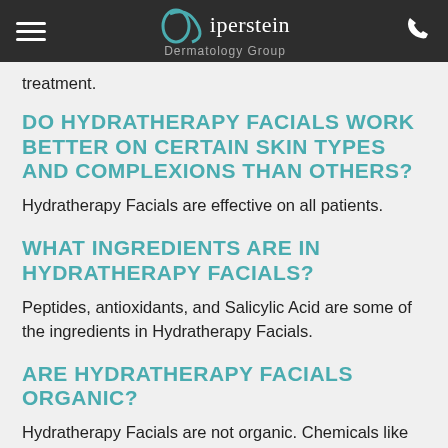Siperstein Dermatology Group
treatment.
DO HYDRATHERAPY FACIALS WORK BETTER ON CERTAIN SKIN TYPES AND COMPLEXIONS THAN OTHERS?
Hydratherapy Facials are effective on all patients.
WHAT INGREDIENTS ARE IN HYDRATHERAPY FACIALS?
Peptides, antioxidants, and Salicylic Acid are some of the ingredients in Hydratherapy Facials.
ARE HYDRATHERAPY FACIALS ORGANIC?
Hydratherapy Facials are not organic. Chemicals like